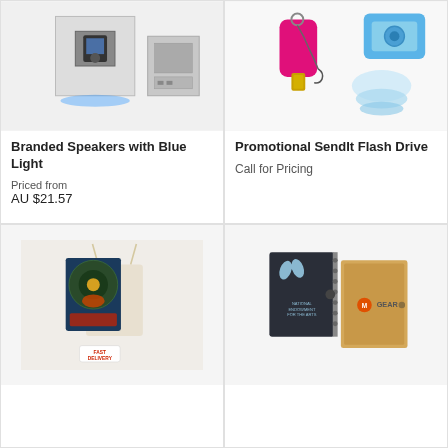[Figure (photo): Branded Speakers with Blue Light - white cube speaker with iPod dock and blue light effect]
Branded Speakers with Blue Light
Priced from
AU $21.57
[Figure (photo): Promotional SendIt Flash Drive - pink USB flash drive on keychain and blue case accessories]
Promotional SendIt Flash Drive
Call for Pricing
[Figure (photo): Promotional product in a drawstring bag with colorful artwork cover and Fast Delivery badge]
[Figure (photo): Two branded notebooks - dark navy spiral notebook with National Endowment for the Arts logo, and tan/kraft MGear notebook]